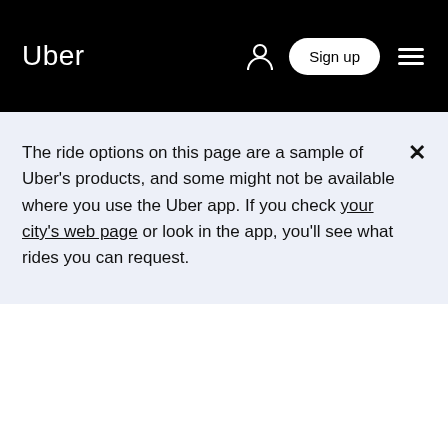Uber
The ride options on this page are a sample of Uber's products, and some might not be available where you use the Uber app. If you check your city's web page or look in the app, you'll see what rides you can request.